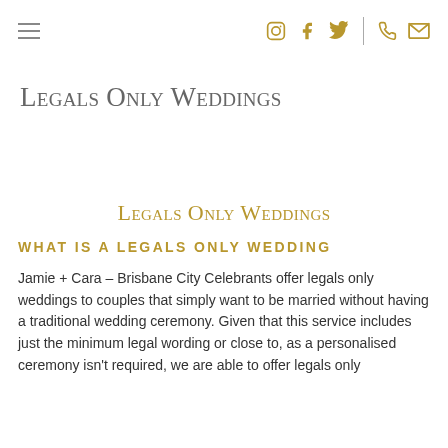≡  [Instagram] [Facebook] [Twitter] | [Phone] [Email]
Legals Only Weddings
Legals Only Weddings
WHAT IS A LEGALS ONLY WEDDING
Jamie + Cara – Brisbane City Celebrants offer legals only weddings to couples that simply want to be married without having a traditional wedding ceremony. Given that this service includes just the minimum legal wording or close to, as a personalised ceremony isn't required, we are able to offer legals only